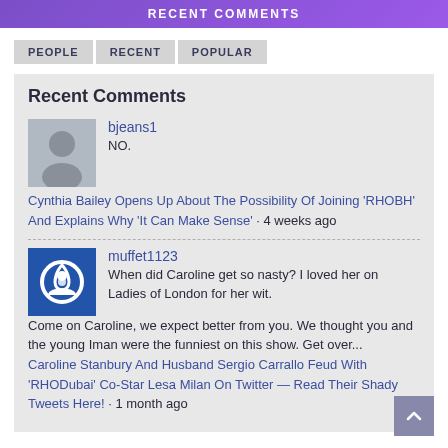RECENT COMMENTS
PEOPLE  RECENT  POPULAR
Recent Comments
bjeans1
NO.
Cynthia Bailey Opens Up About The Possibility Of Joining 'RHOBH' And Explains Why 'It Can Make Sense' · 4 weeks ago
muffet1123
When did Caroline get so nasty? I loved her on Ladies of London for her wit. Come on Caroline, we expect better from you. We thought you and the young Iman were the funniest on this show. Get over...
Caroline Stanbury And Husband Sergio Carrallo Feud With 'RHODubai' Co-Star Lesa Milan On Twitter — Read Their Shady Tweets Here! · 1 month ago